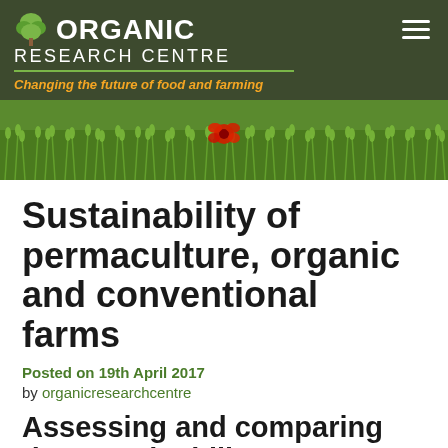ORGANIC RESEARCH CENTRE — Changing the future of food and farming
[Figure (photo): Wide banner photo of a green wheat field with a red poppy flower in the centre]
Sustainability of permaculture, organic and conventional farms
Posted on 19th April 2017
by organicresearchcentre
Assessing and comparing the sustainability performance of